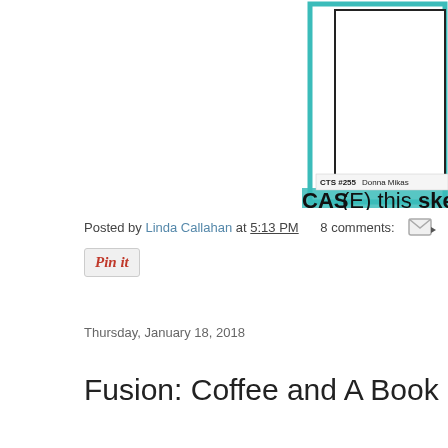[Figure (screenshot): Partial view of a CAS(E) this Sketch challenge card/image. Shows teal/turquoise border elements, a white rectangle, text reading 'CTS #255 Donna Mikas' and bold text 'CAS(E) this sketch' partially visible.]
Posted by Linda Callahan at 5:13 PM   8 comments:
[Figure (other): Pin It button - a rounded rectangle button with cursive red 'Pin it' text on light gray background]
Thursday, January 18, 2018
Fusion: Coffee and A Book